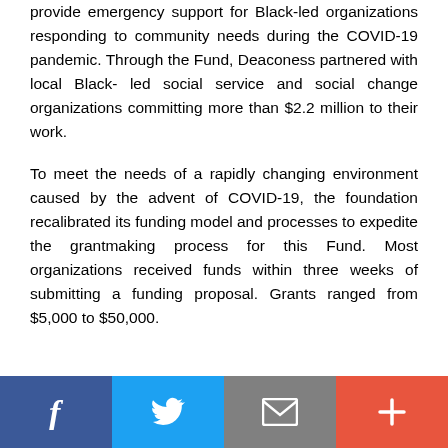provide emergency support for Black-led organizations responding to community needs during the COVID-19 pandemic. Through the Fund, Deaconess partnered with local Black- led social service and social change organizations committing more than $2.2 million to their work.
To meet the needs of a rapidly changing environment caused by the advent of COVID-19, the foundation recalibrated its funding model and processes to expedite the grantmaking process for this Fund. Most organizations received funds within three weeks of submitting a funding proposal. Grants ranged from $5,000 to $50,000.
[Figure (other): Social sharing bar with four buttons: Facebook (blue), Twitter (light blue), Email (gray), More/Plus (orange-red)]